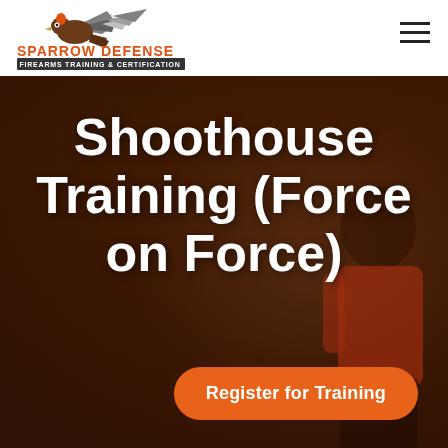[Figure (logo): Sparrow Defense logo with bird graphic, orange text SPARROW DEFENSE and subtitle FIREARMS TRAINING & CERTIFICATION]
Shoothouse Training (Force on Force)
[Figure (photo): Dark indoor shooting range background with person wearing red shirt in foreground, blurry warm brown tones]
Register for Training